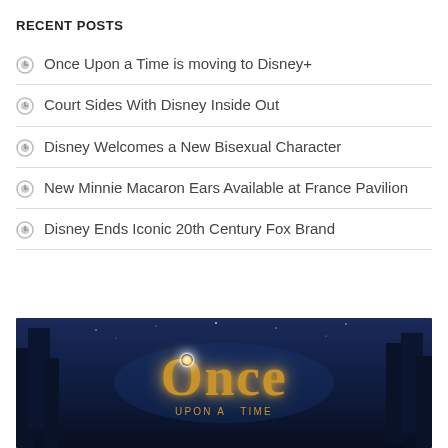RECENT POSTS
Once Upon a Time is moving to Disney+
Court Sides With Disney Inside Out
Disney Welcomes a New Bisexual Character
New Minnie Macaron Ears Available at France Pavilion
Disney Ends Iconic 20th Century Fox Brand
[Figure (photo): Dark blue fantasy forest background with golden 'ONCE UPON A TIME' title text, resembling the TV show logo]